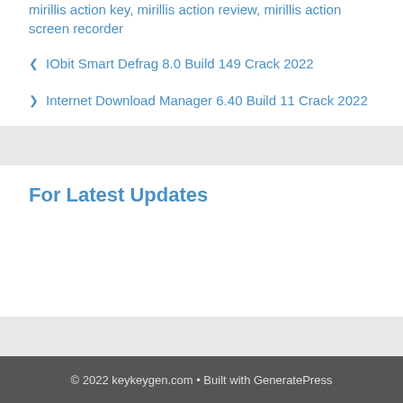mirillis action key, mirillis action review, mirillis action screen recorder
IObit Smart Defrag 8.0 Build 149 Crack 2022
Internet Download Manager 6.40 Build 11 Crack 2022
For Latest Updates
© 2022 keykeygen.com • Built with GeneratePress